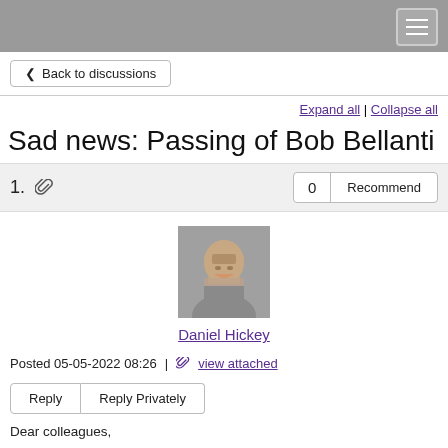Back to discussions
Expand all | Collapse all
Sad news: Passing of Bob Bellanti
1. [paperclip icon]   0  Recommend
[Figure (photo): Profile photo of Daniel Hickey, a man with a beard and mustache against a grey background]
Daniel Hickey
Posted 05-05-2022 08:26   |   view attached
Reply   Reply Privately
Dear colleagues,